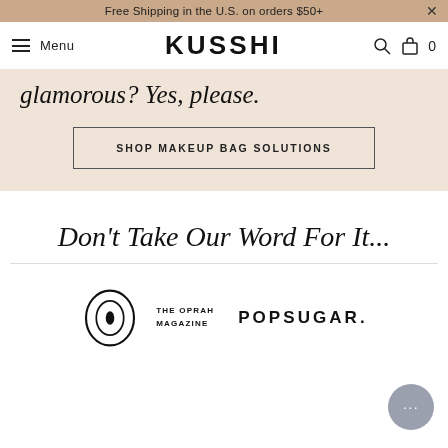Free Shipping in the U.S. on orders $50+
[Figure (logo): KUSSHI brand logo with hamburger menu and cart icon navigation bar]
glamorous? Yes, please.
SHOP MAKEUP BAG SOLUTIONS
Don't Take Our Word For It...
[Figure (logo): The Oprah Magazine logo and POPSUGAR logo side by side]